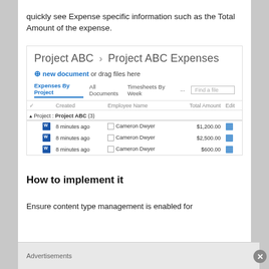quickly see Expense specific information such as the Total Amount of the expense.
[Figure (screenshot): SharePoint document library screenshot showing 'Project ABC › Project ABC Expenses' with a list of expense documents. Shows three rows: Cameron Dwyer, $1,200.00; Cameron Dwyer, $2,500.00; Cameron Dwyer, $600.00. All created 8 minutes ago. Navigation tabs: Expenses By Project, All Documents, Timesheets By Week. New document link and Find a file search box visible.]
How to implement it
Ensure content type management is enabled for